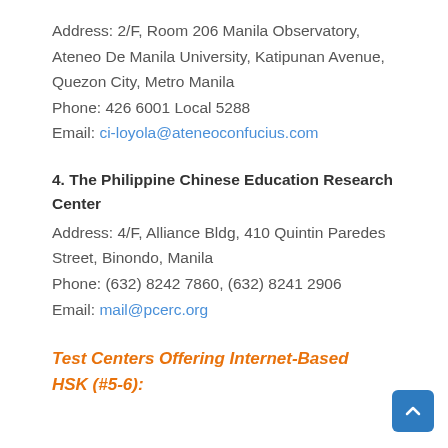Address: 2/F, Room 206 Manila Observatory, Ateneo De Manila University, Katipunan Avenue, Quezon City, Metro Manila
Phone: 426 6001 Local 5288
Email: ci-loyola@ateneoconfucius.com
4. The Philippine Chinese Education Research Center
Address: 4/F, Alliance Bldg, 410 Quintin Paredes Street, Binondo, Manila
Phone: (632) 8242 7860, (632) 8241 2906
Email: mail@pcerc.org
Test Centers Offering Internet-Based HSK (#5-6):